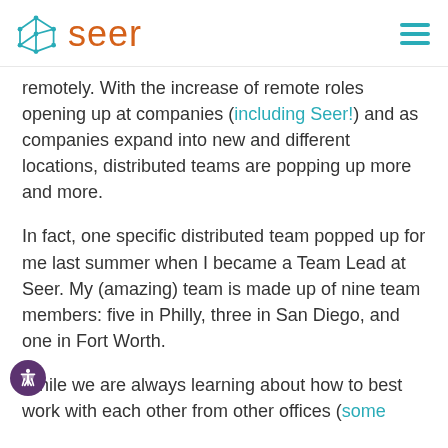seer
remotely. With the increase of remote roles opening up at companies (including Seer!) and as companies expand into new and different locations, distributed teams are popping up more and more.
In fact, one specific distributed team popped up for me last summer when I became a Team Lead at Seer. My (amazing) team is made up of nine team members: five in Philly, three in San Diego, and one in Fort Worth.
While we are always learning about how to best work with each other from other offices (some